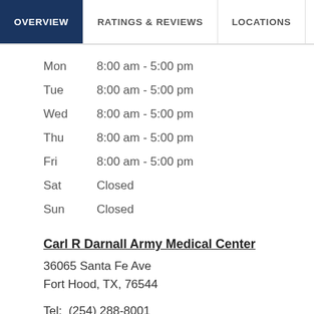OVERVIEW | RATINGS & REVIEWS | LOCATIONS | EX
| Day | Hours |
| --- | --- |
| Mon | 8:00 am - 5:00 pm |
| Tue | 8:00 am - 5:00 pm |
| Wed | 8:00 am - 5:00 pm |
| Thu | 8:00 am - 5:00 pm |
| Fri | 8:00 am - 5:00 pm |
| Sat | Closed |
| Sun | Closed |
Carl R Darnall Army Medical Center
36065 Santa Fe Ave
Fort Hood, TX, 76544
Tel: (254) 288-8001
View all >